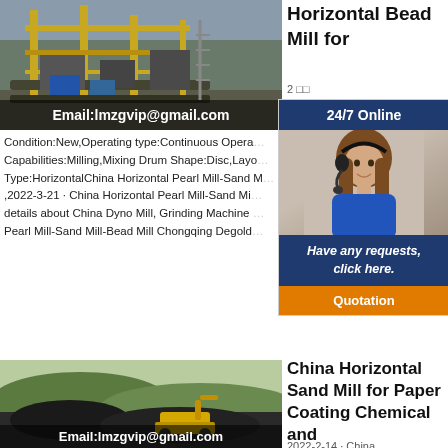[Figure (photo): Industrial mining or crushing plant with yellow steel structure, conveyor belts, Email:lmzgvip@gmail.com overlay]
Horizontal Bead Mill for
2 □□ · 24/7 Online
Condition:New,Operating type:Continuous Operating Capabilities:Milling,Mixing Drum Shape:Disc,Layout Type:HorizontalChina Horizontal Pearl Mill-Sand Mill ,2022-3-21 · China Horizontal Pearl Mill-Sand Mill details about China Dyno Mill, Grinding Machine from Pearl Mill-Sand Mill-Bead Mill Chongqing Degold
[Figure (photo): Headset-wearing female customer service representative photo in 24/7 Online chat widget]
Have any requests, click here.
Quotation
China Horizontal Sand Mill for Paper Coating Chemical and
2022-2-14 · China
[Figure (photo): Mining landscape with coal mounds and yellow excavator/machine, Email:lmzgvip@gmail.com overlay]